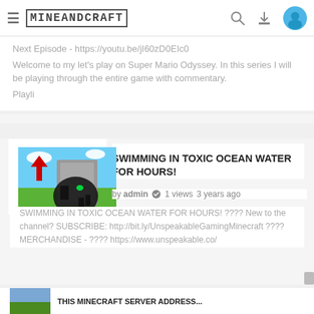MINEANDCRAFT
Next Episode - https://youtu.be/jI60zD0EIc0
Welcome to my let's play on Super Mario Odyssey. In this series I will be playing through the entire game with commentary.
Playli
[Figure (screenshot): Minecraft-style video thumbnail showing a blocky character or creature on grass with sky background, red arrow pointing down, duration badge 11:49]
SWIMMING IN TOXIC OCEAN WATER FOR HOURS!
by admin  ✓  1 views  3 years ago
SWIMMING IN TOXIC OCEAN WATER FOR HOURS! ???? New to the channel? SUBSCRIBE: http://bit.ly/UnspeakableGamingMinecraft ???? MERCHANDISE - ???? https://www.unspeakable.co/
[Figure (screenshot): Partial thumbnail at bottom of page, partially cut off]